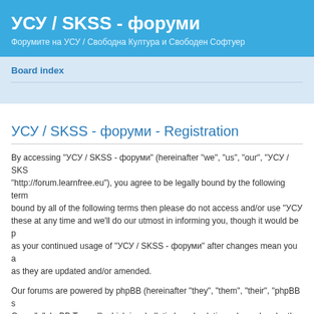УСУ / SKSS - форуми
Форумите на УСУ / Свободна Култура и Свободен Софтуер
Board index
УСУ / SKSS - форуми - Registration
By accessing "УСУ / SKSS - форуми" (hereinafter "we", "us", "our", "УСУ / SKSS - форуми", "http://forum.learnfree.eu"), you agree to be legally bound by the following terms. If you do not agree to be bound by all of the following terms then please do not access and/or use "УСУ / SKSS - форуми". We may change these at any time and we'll do our utmost in informing you, though it would be prudent to review this regularly yourself as your continued usage of "УСУ / SKSS - форуми" after changes mean you agree to be legally bound by these terms as they are updated and/or amended.
Our forums are powered by phpBB (hereinafter "they", "them", "their", "phpBB software", "www.phpbb.com", "phpBB Group", "phpBB Teams") which is a bulletin board solution released under the "General Public License" (hereinafter "GPL") and can be downloaded from www.phpbb.com. The phpBB software only facilitates internet based discussions, the phpBB Group are not responsible for what we allow and/or disallow as permissible content and/or conduct. For further information about phpBB, please see: http://www.phpbb.com/.